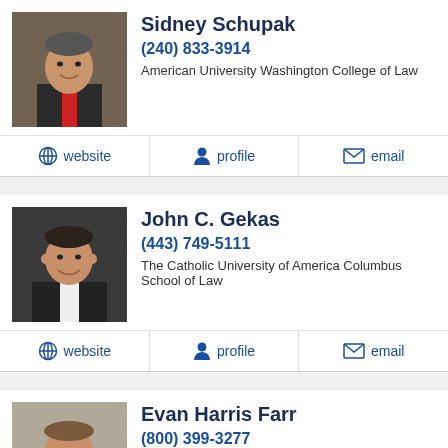[Figure (photo): Headshot photo of Sidney Schupak, older male in suit]
Sidney Schupak
(240) 833-3914
American University Washington College of Law
website | profile | email
[Figure (photo): Headshot photo of John C. Gekas, younger male smiling]
John C. Gekas
(443) 749-5111
The Catholic University of America Columbus School of Law
website | profile | email
[Figure (photo): Headshot photo of Evan Harris Farr, middle-aged male]
Evan Harris Farr
(800) 399-3277
William & Mary Marshall-Wythe School of Law
website | profile | email